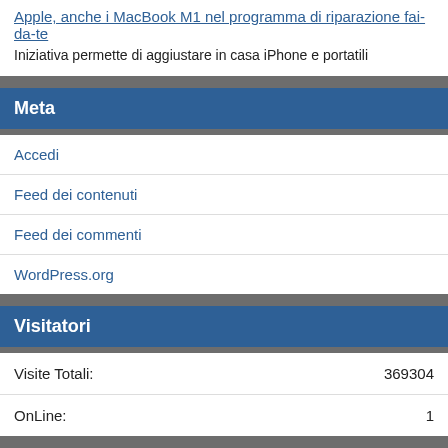Apple, anche i MacBook M1 nel programma di riparazione fai-da-te
Iniziativa permette di aggiustare in casa iPhone e portatili
Meta
Accedi
Feed dei contenuti
Feed dei commenti
WordPress.org
Visitatori
Visite Totali: 369304
OnLine: 1
Iscriviti Gratis
Iscriviti alla nostra newsletter e vi terremo informati: